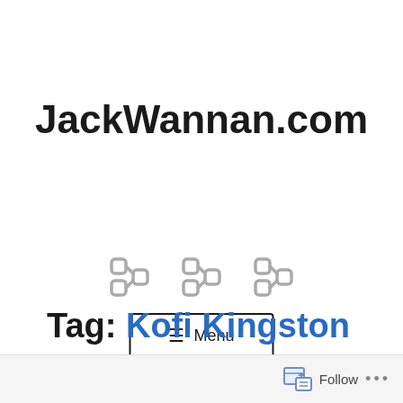JackWannan.com
[Figure (illustration): Three chain link / social media icons in gray, evenly spaced horizontally]
[Figure (other): Menu button with hamburger icon (≡ Menu) inside a rectangular border]
Tag: Kofi Kingston
Follow ...